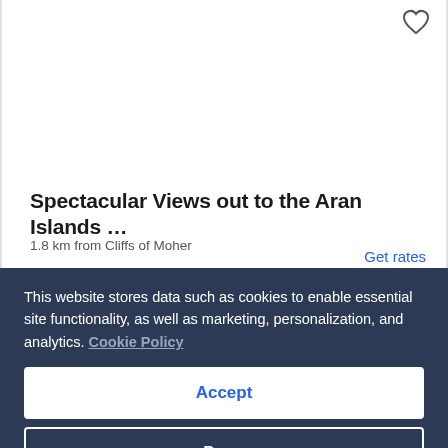[Figure (other): Heart/favorite icon outline in top right corner of listing card]
Spectacular Views out to the Aran Islands …
1.8 km from Cliffs of Moher
Get rates
This website stores data such as cookies to enable essential site functionality, as well as marketing, personalization, and analytics. Cookie Policy
Accept
Deny